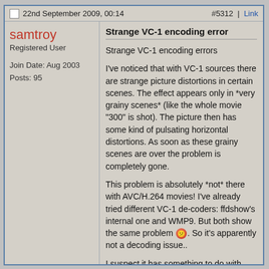22nd September 2009, 00:14   #5312 | Link
samtroy
Registered User

Join Date: Aug 2003
Posts: 95
Strange VC-1 encoding error
Strange VC-1 encoding errors

I've noticed that with VC-1 sources there are strange picture distortions in certain scenes. The effect appears only in *very grainy scenes* (like the whole movie "300" is shot). The picture then has some kind of pulsating horizontal distortions. As soon as these grainy scenes are over the problem is completely gone.

This problem is absolutely *not* there with AVC/H.264 movies! I've already tried different VC-1 de-coders: ffdshow's internal one and WMP9. But both show the same problem 😢. So it's apparently not a decoding issue..

I suspect it has something to do with x264's encoding. As if x264 has problems to properly encode VC-1 movies with very grainy scenes in it. Maybe it doesn't distribute the bitrate